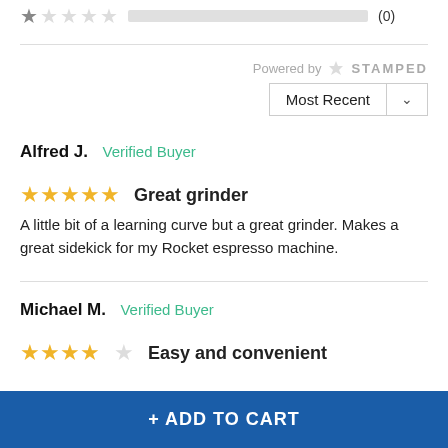[Figure (other): 1-star rating row with empty progress bar and (0) count]
Powered by STAMPED
Most Recent (dropdown)
Alfred J.  Verified Buyer
★★★★★ Great grinder
A little bit of a learning curve but a great grinder. Makes a great sidekick for my Rocket espresso machine.
Michael M.  Verified Buyer
★★★★☆ Easy and convenient
+ ADD TO CART